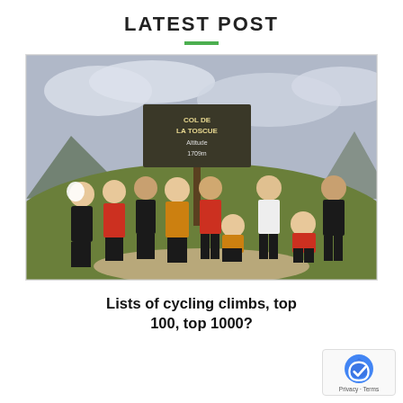LATEST POST
[Figure (photo): Group of cyclists posing in front of a mountain summit sign. The sign reads 'Col de la Toscue, Altitude 1709m'. Nine people in cycling gear, many wearing red and yellow jerseys, standing and kneeling on a dirt path at the top of a mountain with green hills and cloudy sky in the background.]
Lists of cycling climbs, top 100, top 1000?